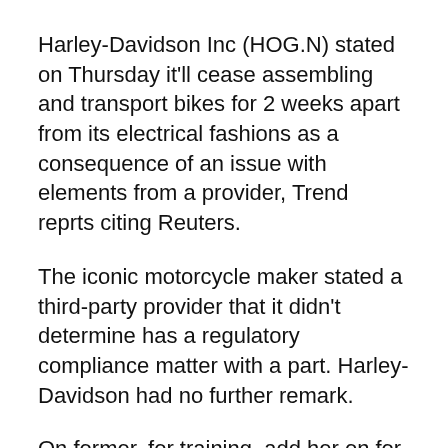Harley-Davidson Inc (HOG.N) stated on Thursday it'll cease assembling and transport bikes for 2 weeks apart from its electrical fashions as a consequence of an issue with elements from a provider, Trend reprts citing Reuters.
The iconic motorcycle maker stated a third-party provider that it didn't determine has a regulatory compliance matter with a part. Harley-Davidson had no further remark.
On former, for training, add her on for training or stati...